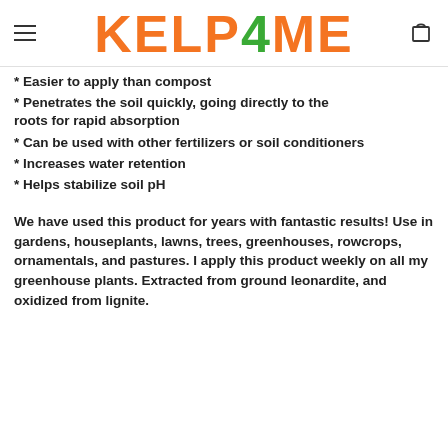KELP4ME
* Easier to apply than compost
* Penetrates the soil quickly, going directly to the roots for rapid absorption
* Can be used with other fertilizers or soil conditioners
* Increases water retention
* Helps stabilize soil pH
We have used this product for years with fantastic results! Use in gardens, houseplants, lawns, trees, greenhouses, rowcrops, ornamentals, and pastures. I apply this product weekly on all my greenhouse plants. Extracted from ground leonardite, and oxidized from lignite.